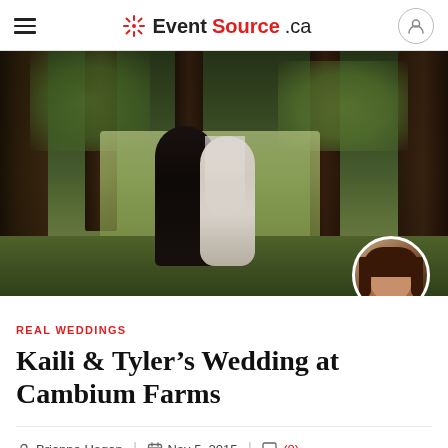EventSource.ca
[Figure (photo): Wedding photo of a bride and groom holding hands among tall trees in a garden setting. The groom wears a black tuxedo with bow tie, and the bride wears a white lace wedding dress with veil. A circular author avatar of Brianne Hogan appears in the bottom-right corner of the photo.]
REAL WEDDINGS
Kaili & Tyler’s Wedding at Cambium Farms
Brianne Hogan   Nov 5, 2015   (0)